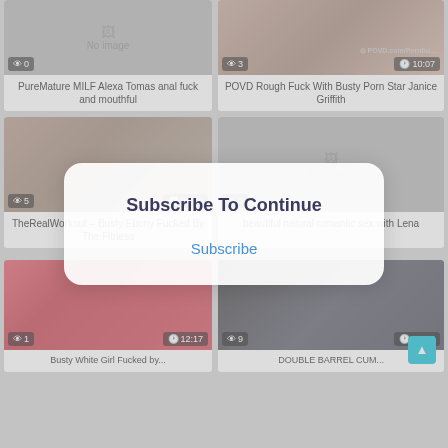[Figure (screenshot): Video thumbnail grid with subscribe modal overlay. Row 1: 'PureMature MILF Alexa Tomas anal fuck and mouthful' (0 views), 'POVD Rough Fuck With Busty Porn Star Janice Griffith' (3 views, 10:07). Row 2 partially visible behind modal: 'TheRealWorkout - Busty...' (5 views), 'No image' card. Modal: 'Subscribe To Continue' with 'Subscribe' link. Row 3: redhead video (1 view, 12:17), dark video (9 views, 07:58).]
PureMature MILF Alexa Tomas anal fuck and mouthful
POVD Rough Fuck With Busty Porn Star Janice Griffith
TheRealWorkout – Busty Ebony Fucked By The Fitness
beautiful natural romantic sex with Lena